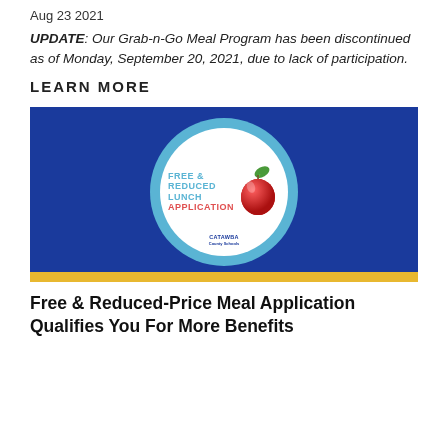Aug 23 2021
UPDATE: Our Grab-n-Go Meal Program has been discontinued as of Monday, September 20, 2021, due to lack of participation.
LEARN MORE
[Figure (illustration): Blue rectangular banner with a teal and white circle in the center containing the text 'FREE & REDUCED LUNCH APPLICATION' with a red apple graphic and the Catawba County Schools logo at the bottom. A gold bar runs along the bottom edge of the banner.]
Free & Reduced-Price Meal Application Qualifies You For More Benefits